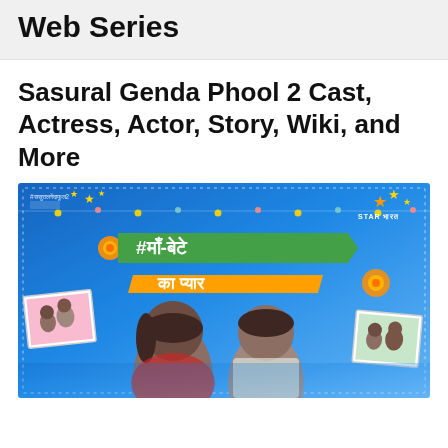Web Series
Sasural Genda Phool 2 Cast, Actress, Actor, Story, Wiki, and More
[Figure (photo): Promotional poster for Sasural Genda Phool 2 TV show on Star Bharat. Blue background with dotted border, Hindi text '#माँ-बेटे का प्यार' in green and orange banners, marigold flowers, two actors in the foreground, and small photo frames of couples on left and right sides. Hashtag #ससुरालगेंदाफूल2 in top left corner.]